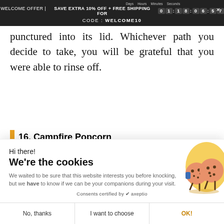WELCOME OFFER | SAVE EXTRA 10% OFF + FREE SHIPPING FOR 01:18:06:57 CODE: WELCOME10
punctured into its lid. Whichever path you decide to take, you will be grateful that you were able to rinse off.
16. Campfire Popcorn
Hi there!
We're the cookies
We waited to be sure that this website interests you before knocking, but we have to know if we can be your companions during your visit.
Consents certified by axeptio
No, thanks | I want to choose | OK!